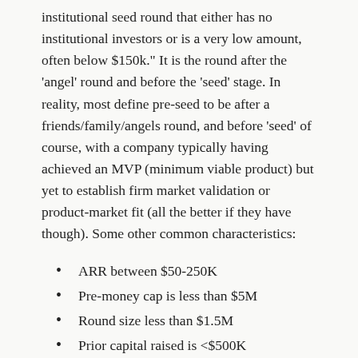institutional seed round that either has no institutional investors or is a very low amount, often below $150k." It is the round after the 'angel' round and before the 'seed' stage. In reality, most define pre-seed to be after a friends/family/angels round, and before 'seed' of course, with a company typically having achieved an MVP (minimum viable product) but yet to establish firm market validation or product-market fit (all the better if they have though). Some other common characteristics:
ARR between $50-250K
Pre-money cap is less than $5M
Round size less than $1.5M
Prior capital raised is <$500K
Of course, there are some exceptions...